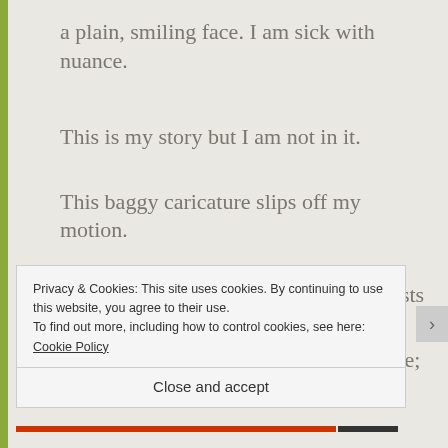a plain, smiling face. I am sick with nuance.
This is my story but I am not in it.
This baggy caricature slips off my motion.
In three-hundred words, a stranger insists
Robin Williams did not die from suicide;
Privacy & Cookies: This site uses cookies. By continuing to use this website, you agree to their use.
To find out more, including how to control cookies, see here: Cookie Policy
Close and accept